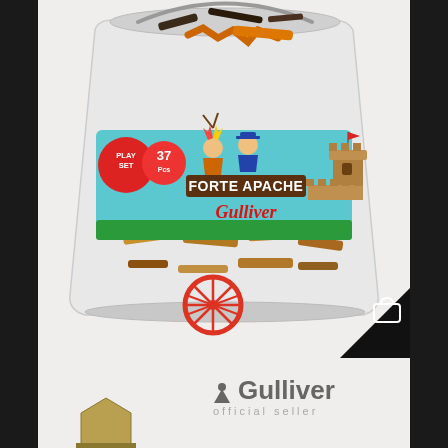[Figure (photo): A transparent plastic bucket/container filled with toy figurines and pieces for a 'Forte Apache' play set by Gulliver. The label on the bucket shows cartoon characters (a Native American child and a cowboy child), a teepee, a fort tower, and reads 'FORTE APACHE' in bold lettering with 'Gulliver' in red cursive below. A red badge indicates '37 Pcs' and a red circle on the left side says 'PLAY SET'. A red wagon wheel is visible at the bottom front of the bucket. Small toy pieces fill the inside.]
[Figure (logo): Gulliver brand logo with a small triangle/gnome icon followed by 'Gulliver' in bold gray text, and 'official seller' in spaced gray letters beneath.]